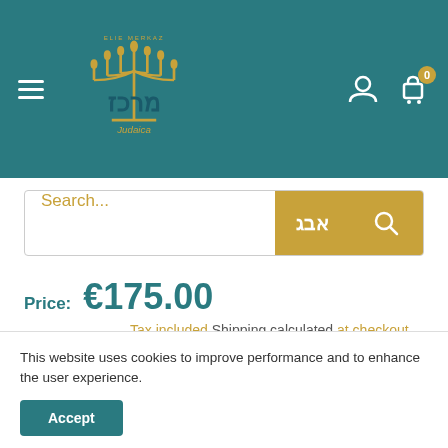[Figure (screenshot): Merkaz Judaica website header with teal background, hamburger menu, logo, user icon, and cart icon with 0 badge]
[Figure (screenshot): Search bar with placeholder 'Search...' in gold, Hebrew alphabet button in gold, and search icon button in gold]
Price: €175.00
Tax included Shipping calculated at checkout
Don't miss out - Grab yours now before we sell out again!
Pre Order
This website uses cookies to improve performance and to enhance the user experience.
Accept